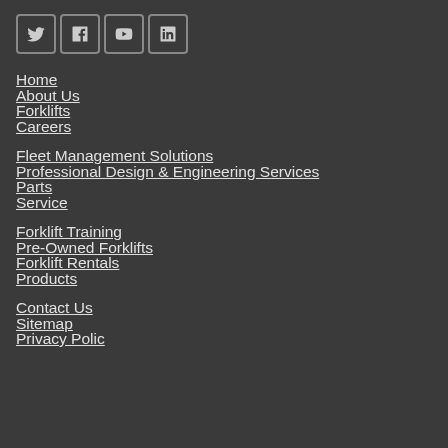[Figure (other): Social media icons row: Twitter (bird), Facebook (f), YouTube (play button), LinkedIn (in)]
Home
About Us
Forklifts
Careers
Fleet Management Solutions
Professional Design & Engineering Services
Parts
Service
Forklift Training
Pre-Owned Forklifts
Forklift Rentals
Products
Contact Us
Sitemap
Privacy Polic...